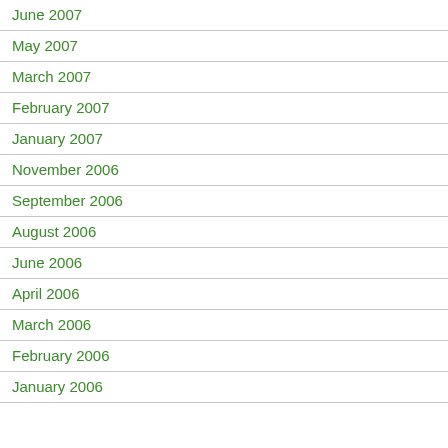June 2007
May 2007
March 2007
February 2007
January 2007
November 2006
September 2006
August 2006
June 2006
April 2006
March 2006
February 2006
January 2006